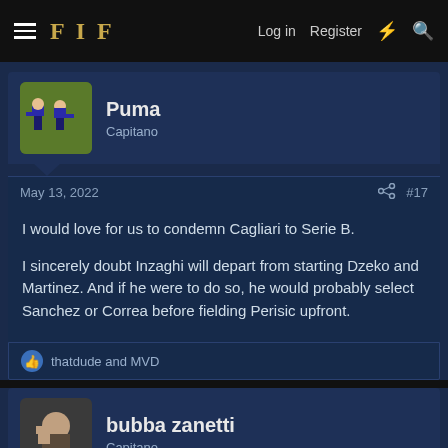FIF — Log in  Register
Puma
Capitano
May 13, 2022  #17
I would love for us to condemn Cagliari to Serie B.

I sincerely doubt Inzaghi will depart from starting Dzeko and Martinez. And if he were to do so, he would probably select Sanchez or Correa before fielding Perisic upfront.
thatdude and MVD
bubba zanetti
Capitano
May 13, 2022  #18